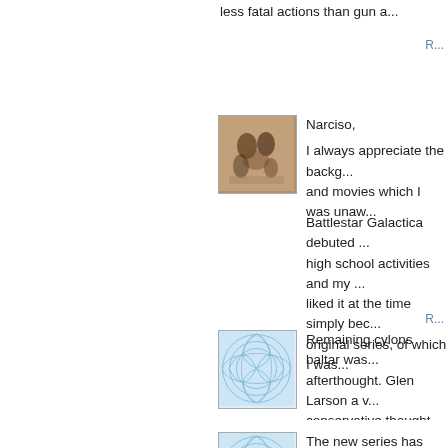less fatal actions than gun a...
R...
[Figure (photo): Small thumbnail photo of a group of people, sepia/vintage toned]
Narciso,

I always appreciate the backg... and movies which I was unaw...

Battlestar Galactica debuted ... high school activities and my ... liked it at the time simply bec... original series, of which I was...
R...
[Figure (illustration): Small thumbnail with light blue decorative circular pattern on white/light blue background]
Remaining cylons baltar was... afterthought. Glen Larson a v... conservative thought this mig...
[Figure (illustration): Small thumbnail with light blue decorative circular pattern on white/light blue background]
The new series has baltar as... later in the story he betrays h... figure who doesnt believe in ...